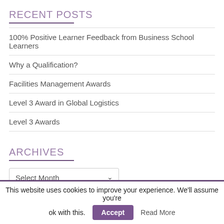RECENT POSTS
100% Positive Learner Feedback from Business School Learners
Why a Qualification?
Facilities Management Awards
Level 3 Award in Global Logistics
Level 3 Awards
ARCHIVES
Select Month
CATEGORIES
This website uses cookies to improve your experience. We'll assume you're ok with this. Accept Read More